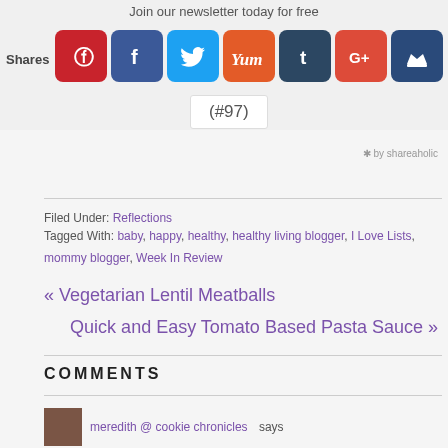Join our newsletter today for free
[Figure (screenshot): Social sharing bar with Pinterest, Facebook, Twitter, Yum, Tumblr, Google+, and crown icon buttons, labeled 'Shares']
(#97)
by shareaholic
Filed Under: Reflections
Tagged With: baby, happy, healthy, healthy living blogger, I Love Lists, mommy blogger, Week In Review
« Vegetarian Lentil Meatballs
Quick and Easy Tomato Based Pasta Sauce »
COMMENTS
meredith @ cookie chronicles says